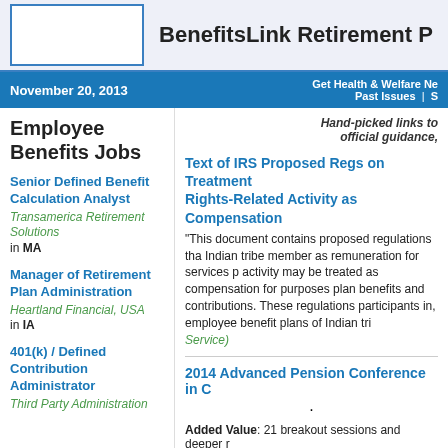[Figure (logo): BenefitsLink logo box placeholder]
BenefitsLink Retirement P
November 20, 2013 | Get Health & Welfare Ne | Past Issues | S
Hand-picked links to official guidance,
Employee Benefits Jobs
Senior Defined Benefit Calculation Analyst
Transamerica Retirement Solutions
in MA
Manager of Retirement Plan Administration
Heartland Financial, USA
in IA
401(k) / Defined Contribution Administrator
Third Party Administration
Text of IRS Proposed Regs on Treatment Rights-Related Activity as Compensation
"This document contains proposed regulations that Indian tribe member as remuneration for services p activity may be treated as compensation for purposes plan benefits and contributions. These regulations participants in, employee benefit plans of Indian tri Service)
2014 Advanced Pension Conference in C
Added Value: 21 breakout sessions and deeper r